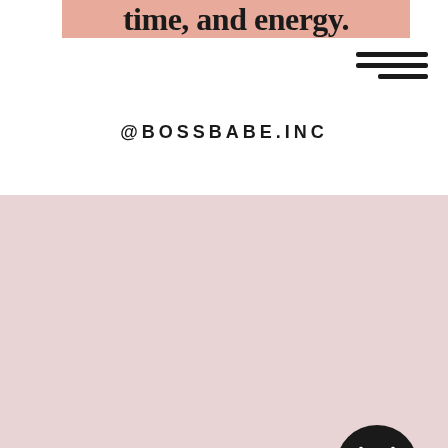time, and energy.
[Figure (other): Hamburger menu icon with three horizontal lines, right-aligned]
@BOSSBABE.INC
[Figure (other): Dark pink/blush background section with a black circle containing a white X close button icon in the upper right area]